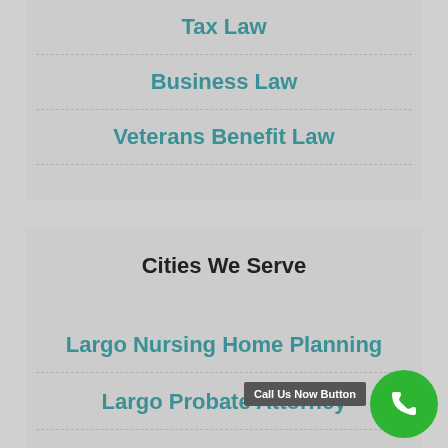Tax Law
Business Law
Veterans Benefit Law
Cities We Serve
Largo Nursing Home Planning
Largo Probate Attorney
Call Us Now Button